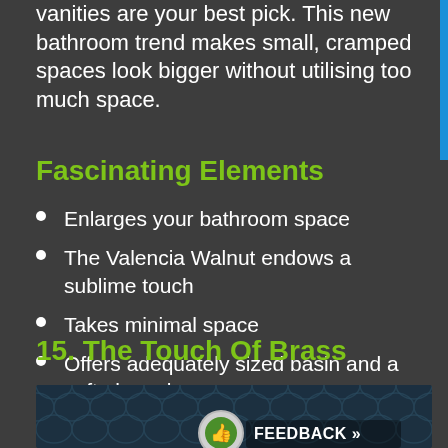vanities are your best pick. This new bathroom trend makes small, cramped spaces look bigger without utilising too much space.
Fascinating Elements
Enlarges your bathroom space
The Valencia Walnut endows a sublime touch
Takes minimal space
Offers adequately sized basin and a soft-close drawer
15. The Touch Of Brass
[Figure (photo): Bottom portion of a bathroom image with a scale/tile pattern background and a feedback button overlay]